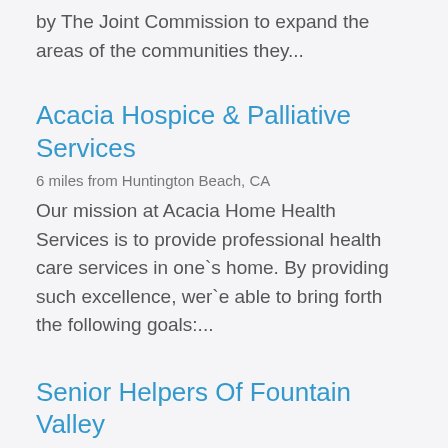by The Joint Commission to expand the areas of the communities they...
Acacia Hospice & Palliative Services
6 miles from Huntington Beach, CA
Our mission at Acacia Home Health Services is to provide professional health care services in one`s home. By providing such excellence, wer`e able to bring forth the following goals:...
Senior Helpers Of Fountain Valley
6 miles from Huntington Beach, CA